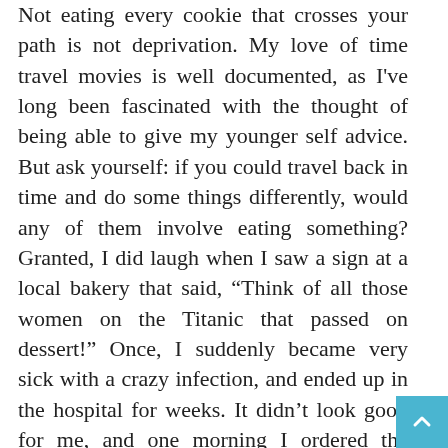Not eating every cookie that crosses your path is not deprivation. My love of time travel movies is well documented, as I've long been fascinated with the thought of being able to give my younger self advice. But ask yourself: if you could travel back in time and do some things differently, would any of them involve eating something? Granted, I did laugh when I saw a sign at a local bakery that said, “Think of all those women on the Titanic that passed on dessert!” Once, I suddenly became very sick with a crazy infection, and ended up in the hospital for weeks. It didn’t look good for me, and one morning I ordered the pancakes for breakfast and said, “Well, if I’m not going to make it, I see no point in ordering the egg white omelet.” Want to laugh? I ordered the sugar free syrup in case I rallied! Happily, I live to tell the story, so enjoy the “worth it” treats when they come your way, or you think your ship is sinking, but save the moderation talk for when you’re at your goal range. Maybe it’s